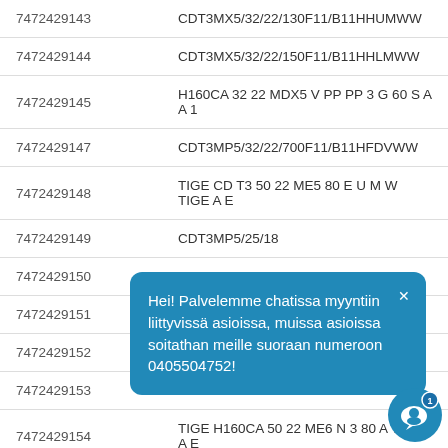| ID | Description |
| --- | --- |
| 7472429143 | CDT3MX5/32/22/130F11/B11HHUMWW |
| 7472429144 | CDT3MX5/32/22/150F11/B11HHLMWW |
| 7472429145 | H160CA 32 22 MDX5 V PP PP 3 G 60 S A A 1 |
| 7472429147 | CDT3MP5/32/22/700F11/B11HFDVWW |
| 7472429148 | TIGE CD T3 50 22 ME5 80 E U M W TIGE A E |
| 7472429149 | CDT3MP5/25/18… |
| 7472429150 | CDT3MS2/25/18… |
| 7472429151 | CDT3MP3/50/28… |
| 7472429152 | CDT3MT4/32/22… |
| 7472429153 | TIGE H160CA 50… |
| 7472429154 | TIGE H160CA 50 22 ME6 N 3 80 A TIGE A E… |
| 7472429155 | TIGE H160CA 80 36 MP5 N 3 180 A TIGE A E |
Hei! Palvelemme chatissa myyntiin liittyvissä asioissa, muissa asioissa soitathan meille suoraan numeroon 0405504752!